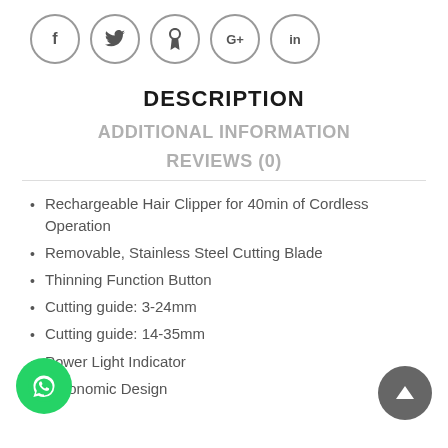[Figure (other): Social media share icons in circles: Facebook (f), Twitter (bird), Pinterest (p), Google+ (G+), LinkedIn (in)]
DESCRIPTION
ADDITIONAL INFORMATION
REVIEWS (0)
Rechargeable Hair Clipper for 40min of Cordless Operation
Removable, Stainless Steel Cutting Blade
Thinning Function Button
Cutting guide: 3-24mm
Cutting guide: 14-35mm
Power Light Indicator
Ergonomic Design